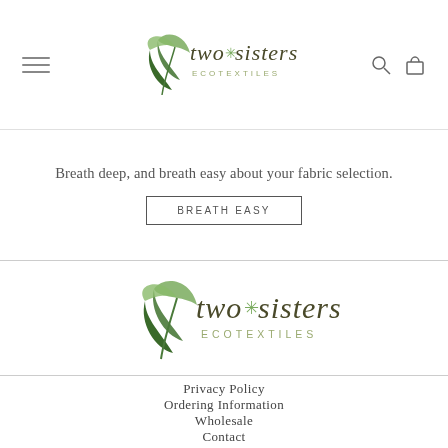[Figure (logo): Two Sisters Ecotextiles logo with green leaf motif, script text 'two * sisters' and 'ECOTEXTILES' below, shown in header navigation bar with hamburger menu, search icon, and bag icon]
Breath deep, and breath easy about your fabric selection.
BREATH EASY
[Figure (logo): Two Sisters Ecotextiles footer logo, larger version with green leaf motif, script text 'two * sisters' and 'ECOTEXTILES' in olive/brown tones]
Privacy Policy
Ordering Information
Wholesale
Contact